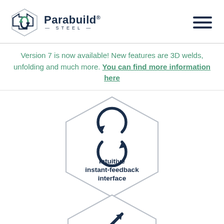[Figure (logo): Parabuild Steel logo with hexagonal icon on the left and hamburger menu icon on the right]
Version 7 is now available! New features are 3D welds, unfolding and much more. You can find more information here
[Figure (infographic): Hexagon shape containing a circular arrows icon and text 'Intuitive instant-feedback interface' in dark navy blue]
[Figure (infographic): Partial hexagon at bottom with an upward arrow icon, partially visible]